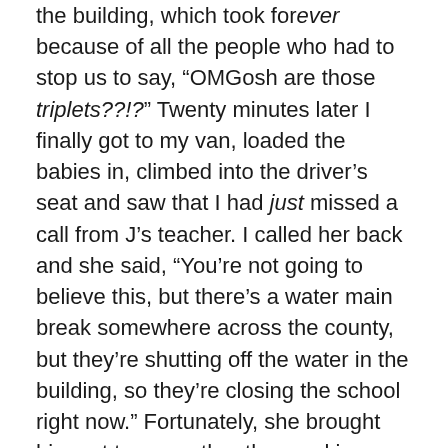the building, which took forever because of all the people who had to stop us to say, “OMGosh are those triplets??!?” Twenty minutes later I finally got to my van, loaded the babies in, climbed into the driver’s seat and saw that I had just missed a call from J’s teacher. I called her back and she said, “You’re not going to believe this, but there’s a water main break somewhere across the county, but they’re shutting off the water in the building, so they’re closing the school right now.” Fortunately, she brought him out to me, rather than making me pack the babies back up and go back in to get him. So this meant taking all four kids to the pediatrician, like we’re not enough of a three-ring-circus as it is. Oy. (To his credit, J was incredibly well behaved at the pediatrician, despite it being over an hour and a half there)